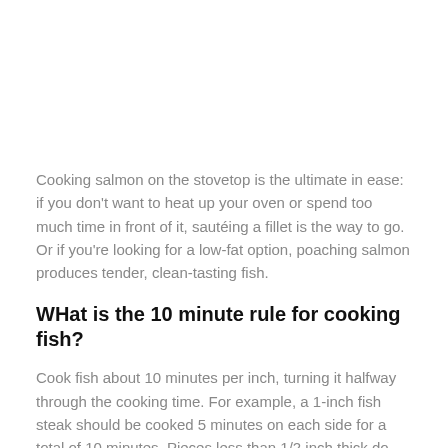Cooking salmon on the stovetop is the ultimate in ease: if you don't want to heat up your oven or spend too much time in front of it, sautéing a fillet is the way to go. Or if you're looking for a low-fat option, poaching salmon produces tender, clean-tasting fish.
WHat is the 10 minute rule for cooking fish?
Cook fish about 10 minutes per inch, turning it halfway through the cooking time. For example, a 1-inch fish steak should be cooked 5 minutes on each side for a total of 10 minutes. Pieces less than 1/2 inch thick do not have to be turned over.